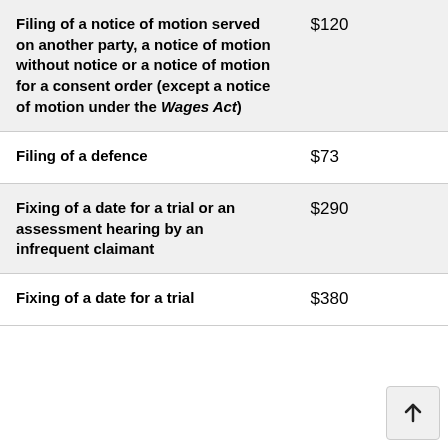| Description | Fee |
| --- | --- |
| Filing of a notice of motion served on another party, a notice of motion without notice or a notice of motion for a consent order (except a notice of motion under the Wages Act) | $120 |
| Filing of a defence | $73 |
| Fixing of a date for a trial or an assessment hearing by an infrequent claimant | $290 |
| Fixing of a date for a trial | $380 |